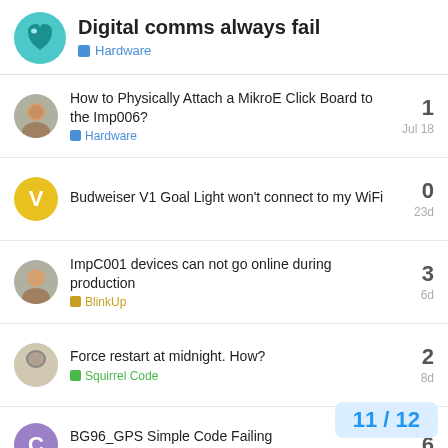Digital comms always fail — Hardware
How to Physically Attach a MikroE Click Board to the Imp006? — Hardware — Jul 18 — 1 reply
Budweiser V1 Goal Light won't connect to my WiFi — 23d — 0 replies
ImpC001 devices can not go online during production — BlinkUp — 6d — 3 replies
Force restart at midnight. How? — Squirrel Code — 8d — 2 replies
BG96_GPS Simple Code Failing — Device Code — 6 replies
11 / 12